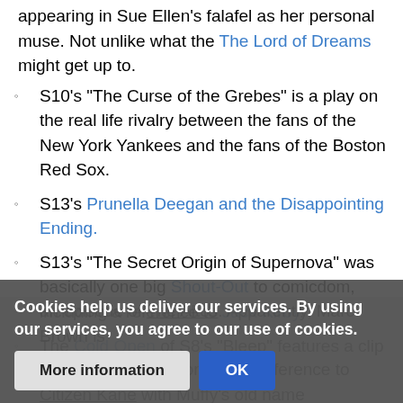appearing in Sue Ellen's falafel as her personal muse. Not unlike what the The Lord of Dreams might get up to.
S10's "The Curse of the Grebes" is a play on the real life rivalry between the fans of the New York Yankees and the fans of the Boston Red Sox.
S13's Prunella Deegan and the Disappointing Ending.
S13's "The Secret Origin of Supernova" was basically one big Shout-Out to comicdom, including a reference to Jack Kirby.
The Cold Open of S8's "Bleep" features a clip from an episode of The Altos. Apparently, Marc Brown is
S6's "Su... s...ed" contains a reference to Citizen Kane with Muffy's old name
Cookies help us deliver our services. By using our services, you agree to our use of cookies.